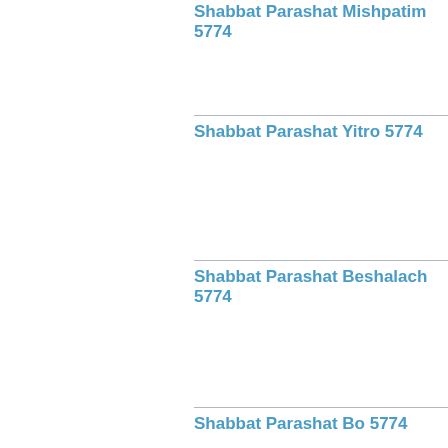Shabbat Parashat Mishpatim 5774
Shabbat Parashat Yitro 5774
Shabbat Parashat Beshalach 5774
Shabbat Parashat Bo 5774
Shabbat Parashat Vaeira 5774
Shabbat Parashat Shemot 5774
Shabbat Parashat Vayechi 5774
Shabbat Parashat Vayigash 5774